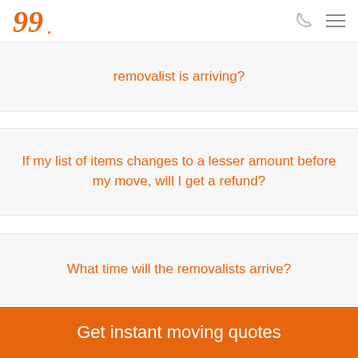Logo and navigation header
removalist is arriving?
If my list of items changes to a lesser amount before my move, will I get a refund?
What time will the removalists arrive?
Get instant moving quotes